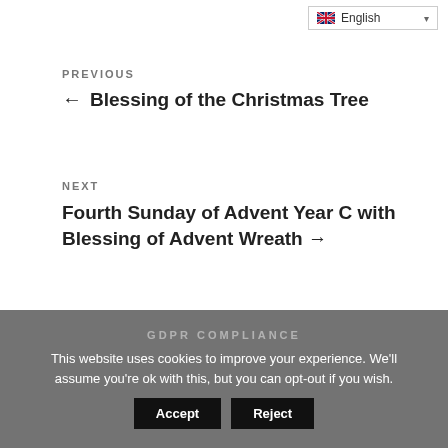English
PREVIOUS
← Blessing of the Christmas Tree
NEXT
Fourth Sunday of Advent Year C with Blessing of Advent Wreath →
GDPR COMPLIANCE
This website uses cookies to improve your experience. We'll assume you're ok with this, but you can opt-out if you wish.
Accept  Reject